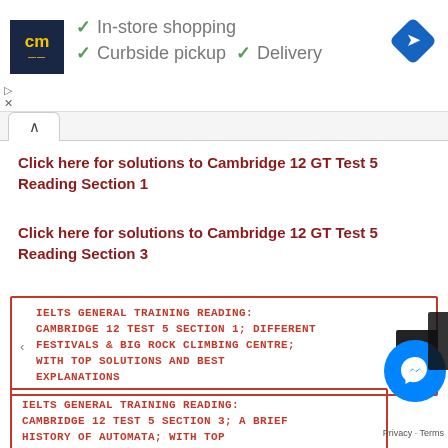[Figure (screenshot): Ad banner with CM logo, checkmarks for In-store shopping, Curbside pickup, Delivery, and a blue navigation diamond icon]
Click here for solutions to Cambridge 12 GT Test 5 Reading Section 1
Click here for solutions to Cambridge 12 GT Test 5 Reading Section 3
IELTS GENERAL TRAINING READING: CAMBRIDGE 12 TEST 5 SECTION 1; DIFFERENT FESTIVALS & BIG ROCK CLIMBING CENTRE; WITH TOP SOLUTIONS AND BEST EXPLANATIONS
IELTS GENERAL TRAINING READING: CAMBRIDGE 12 TEST 5 SECTION 3; A BRIEF HISTORY OF AUTOMATA; WITH TOP SOLUTIONS AND BEST EXPLANATIONS